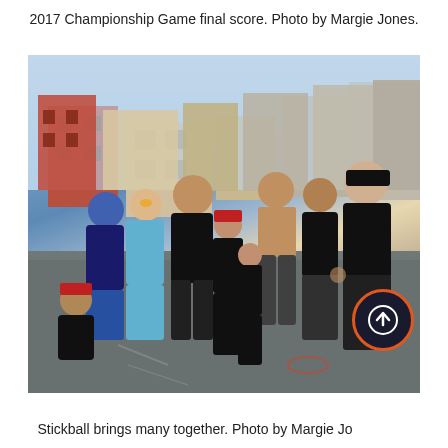2017 Championship Game final score. Photo by Margie Jones.
[Figure (photo): Group photo of approximately 11 people posing together outdoors on a street/plaza. The group includes men and children, some wearing baseball caps and sports jerseys. Background shows urban buildings. Taken at the 2017 Championship Game.]
Stickball brings many together. Photo by Margie Jo[nes].